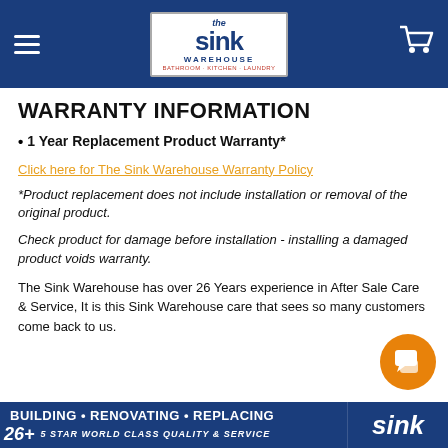The Sink Warehouse
WARRANTY INFORMATION
1 Year Replacement Product Warranty*
Click here for The Sink Warehouse Warranty Policy
*Product replacement does not include installation or removal of the original product.
Check product for damage before installation - installing a damaged product voids warranty.
The Sink Warehouse has over 26 Years experience in After Sale Care & Service, It is this Sink Warehouse care that sees so many customers come back to us.
BUILDING • RENOVATING • REPLACING | 26+ 5 STAR WORLD CLASS QUALITY & SERVICE